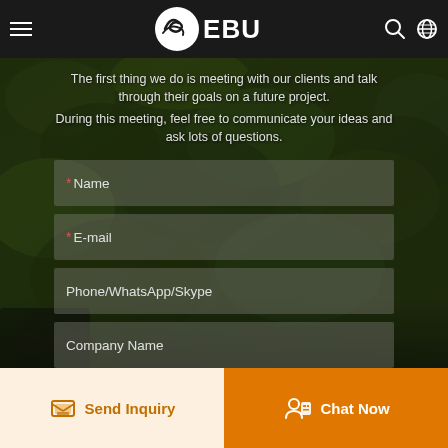EBU
The first thing we do is meeting with our clients and talk through their goals on a future project. During this meeting, feel free to communicate your ideas and ask lots of questions.
[Figure (screenshot): Contact form with fields: Name (required), E-mail (required), Phone/WhatsApp/Skype, Company Name, over a dark nature/car background]
Send Inquiry
Chat Now